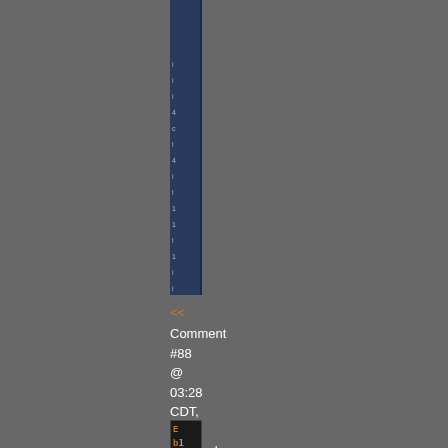[Figure (screenshot): Dark gray UI screenshot showing a vertical navigation panel on the left side with a dark blue/navy sidebar, partially visible text items, and below it a comment section showing '<<', 'Comment #88 @ 03:28 CDT, 2 September 2010', '>>', and a partial UI element with orange-highlighted letters at the bottom.]
<<
Comment #88 @ 03:28 CDT, 2 September 2010
>>